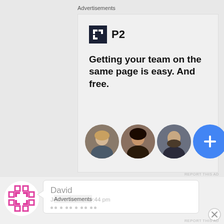Advertisements
[Figure (screenshot): P2 advertisement banner with logo, headline text 'Getting your team on the same page is easy. And free.' and three circular avatar photos plus a blue plus-sign button]
REPORT THIS AD
[Figure (screenshot): Comment bubble with user avatar (pink lattice logo), commenter name 'David', date 'July 4, 2018 at 9:44 pm', and blurred content dots]
Advertisements
REPORT THIS AD